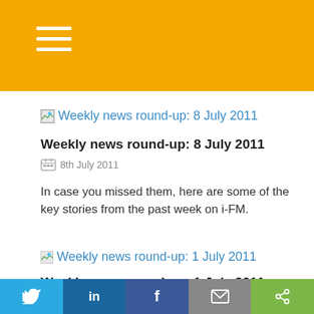[Figure (screenshot): Broken image placeholder icon for Weekly news round-up: 8 July 2011 article thumbnail link]
Weekly news round-up: 8 July 2011
8th July 2011
In case you missed them, here are some of the key stories from the past week on i-FM.
[Figure (screenshot): Broken image placeholder icon for Weekly news round-up: 1 July 2011 article thumbnail link]
Weekly news round-up: 1 July 2011
1st July 2011
Twitter LinkedIn Facebook Email Share